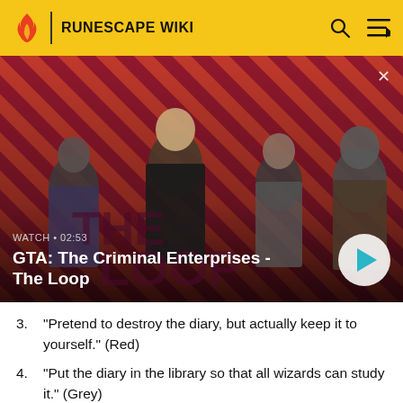RUNESCAPE WIKI
[Figure (screenshot): GTA: The Criminal Enterprises - The Loop promotional banner image showing four characters against a red diagonal striped background. Text overlay reads WATCH • 02:53 and GTA: The Criminal Enterprises - The Loop with a play button.]
3. "Pretend to destroy the diary, but actually keep it to yourself." (Red)
4. "Put the diary in the library so that all wizards can study it." (Grey)
Question 3: "A rival wizard is spreading lies about you